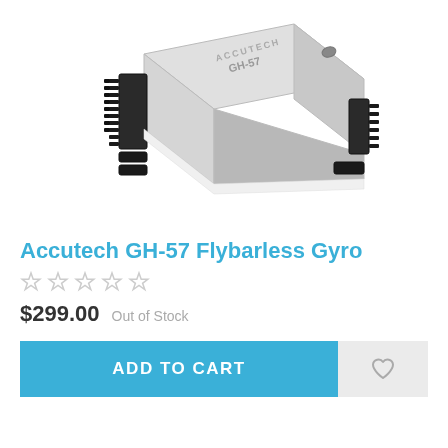[Figure (photo): Accutech GH-57 flybarless gyro electronic device — a small silver/chrome rectangular module with connector pins and ports on multiple sides, viewed from an isometric angle]
Accutech GH-57 Flybarless Gyro
☆☆☆☆☆ (5 empty stars rating)
$299.00  Out of Stock
ADD TO CART